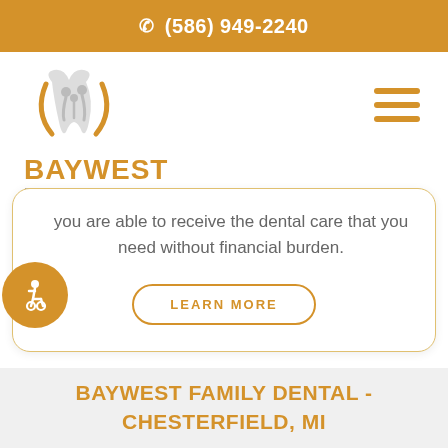(586) 949-2240
[Figure (logo): Baywest Family Dental logo with orange and gray tooth/people icon, orange BAYWEST text, gray FAMILY DENTAL text]
you are able to receive the dental care that you need without financial burden.
LEARN MORE
BAYWEST FAMILY DENTAL - CHESTERFIELD, MI